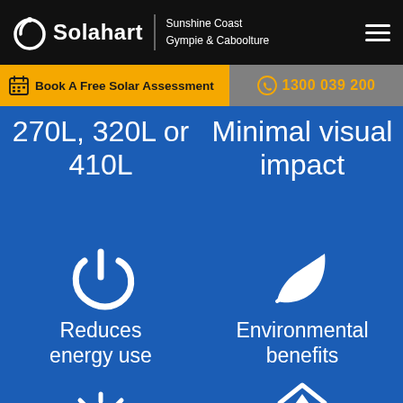Solahart | Sunshine Coast Gympie & Caboolture
Book A Free Solar Assessment
1300 039 200
270L, 320L or 410L
Minimal visual impact
[Figure (illustration): Power/on button icon in white on blue background]
Reduces energy use
[Figure (illustration): Green leaf icon in white on blue background]
Environmental benefits
[Figure (illustration): Sun/gear icon partial at bottom left]
[Figure (illustration): House/arrow icon partial at bottom right]